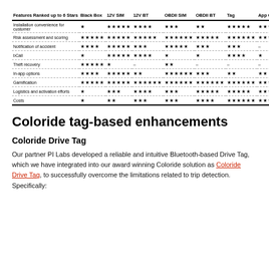| Features Ranked up to 6 Stars | Black Box | 12V SIM | 12V BT | OBDII SIM | OBDII BT | Tag | App Only |
| --- | --- | --- | --- | --- | --- | --- | --- |
| Installation convenience for customer | ★ | ★★★★★ | ★★★★ | ★★★ | ★★ | ★★★★★ | ★★★★★ |
| Risk assessment and scoring | ★★★★★ | ★★★★★ | ★★★★★ | ★★★★★★ | ★★★★★ | ★★★★★★ | ★★★★ |
| Notification of accident | ★★★★ | ★★★★★ | ★★★ | ★★★★★ | ★★★ | ★★★ | – |
| bCall | ★ | ★★★★★ | ★★★★ | ★ | ★ | ★★★★ | ★ |
| Theft recovery | ★★★★★ | ★ | – | ★★ | – | – | – |
| In-app options | ★★★★ | ★★★★★ | ★★ | ★★★★★★ | ★★★ | ★★ | ★★ |
| Gamification | ★★★★★ | ★★★★★ | ★★★★★★ | ★★★★★★ | ★★★★★★ | ★★★★★★ | ★★★★★ |
| Logistics and activation efforts | ★ | ★★★ | ★★★★ | ★★★ | ★★★★★ | ★★★★★ | ★★★★★ |
| Costs | ★ | ★★ | ★★★ | ★★★ | ★★★★ | ★★★★★★ | ★★★★★★ |
Coloride tag-based enhancements
Coloride Drive Tag
Our partner PI Labs developed a reliable and intuitive Bluetooth-based Drive Tag, which we have integrated into our award winning Coloride solution as Coloride Drive Tag, to successfully overcome the limitations related to trip detection. Specifically: